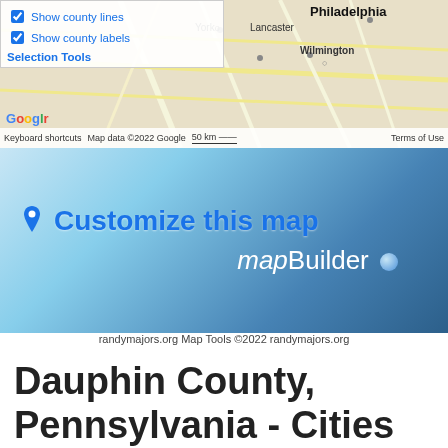[Figure (screenshot): Google Maps screenshot showing Pennsylvania region with Philadelphia, York, Lancaster, Wilmington visible. Overlay panel shows checkboxes for 'Show county lines' and 'Show county labels', and a 'Selection Tools' link. Google logo and map attribution bar at bottom.]
[Figure (screenshot): mapBuilder banner with 'Customize this map' heading in blue and 'mapBuilder' logo in white italic text on blue gradient background with map pin icon.]
randymajors.org Map Tools ©2022 randymajors.org
Dauphin County, Pennsylvania - Cities Map
View Google Maps with Dauphin County, Pennsylvania City Limits. Find city by address. Quickl